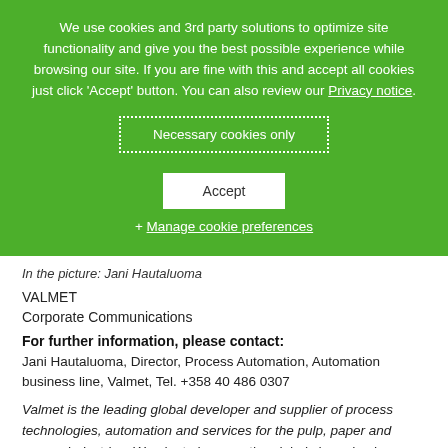We use cookies and 3rd party solutions to optimize site functionality and give you the best possible experience while browsing our site. If you are fine with this and accept all cookies just click 'Accept' button. You can also review our Privacy notice.
Necessary cookies only
Accept
+ Manage cookie preferences
In the picture: Jani Hautaluoma
VALMET
Corporate Communications
For further information, please contact:
Jani Hautaluoma, Director, Process Automation, Automation business line, Valmet, Tel. +358 40 486 0307
Valmet is the leading global developer and supplier of process technologies, automation and services for the pulp, paper and energy industries. We aim to become the global champion in serving our customers.